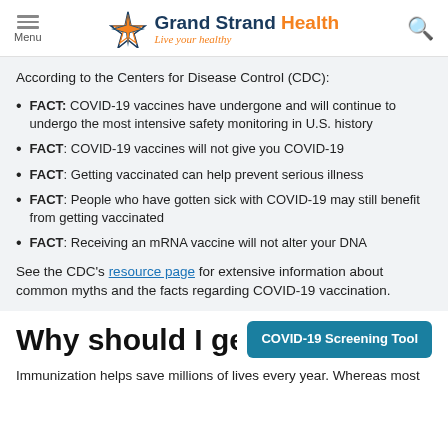Menu | Grand Strand Health - Live your healthy
According to the Centers for Disease Control (CDC):
FACT: COVID-19 vaccines have undergone and will continue to undergo the most intensive safety monitoring in U.S. history
FACT: COVID-19 vaccines will not give you COVID-19
FACT: Getting vaccinated can help prevent serious illness
FACT: People who have gotten sick with COVID-19 may still benefit from getting vaccinated
FACT: Receiving an mRNA vaccine will not alter your DNA
See the CDC's resource page for extensive information about common myths and the facts regarding COVID-19 vaccination.
Why should I get v...
Immunization helps save millions of lives every year. Whereas most